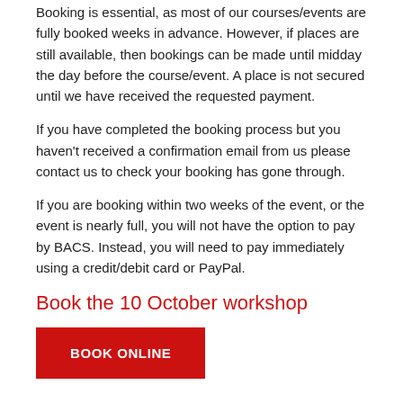Booking is essential, as most of our courses/events are fully booked weeks in advance. However, if places are still available, then bookings can be made until midday the day before the course/event. A place is not secured until we have received the requested payment.
If you have completed the booking process but you haven't received a confirmation email from us please contact us to check your booking has gone through.
If you are booking within two weeks of the event, or the event is nearly full, you will not have the option to pay by BACS. Instead, you will need to pay immediately using a credit/debit card or PayPal.
Book the 10 October workshop
BOOK ONLINE